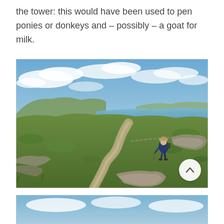the tower: this would have been used to pen ponies or donkeys and – possibly – a goat for milk.
[Figure (photo): A hiker with a walking stick and hat on a rocky trail through green hillside moorland, with a view of the sea and distant hills under a partly cloudy blue sky.]
[Figure (photo): Partial view of another outdoor landscape photo at the bottom of the page, showing sky and possibly water.]